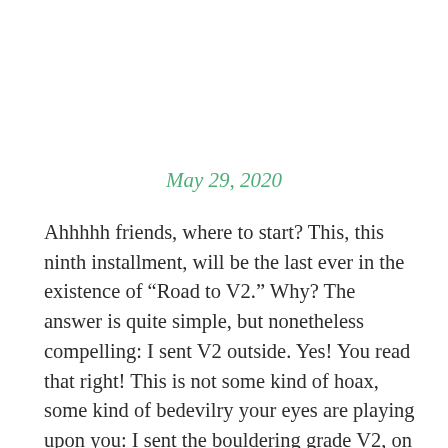May 29, 2020
Ahhhhh friends, where to start? This, this ninth installment, will be the last ever in the existence of “Road to V2.” Why? The answer is quite simple, but nonetheless compelling: I sent V2 outside. Yes! You read that right! This is not some kind of hoax, some kind of bedevilry your eyes are playing upon you: I sent the bouldering grade V2, on real rock, not in a gym. And it was glorious. It was glorious and over all